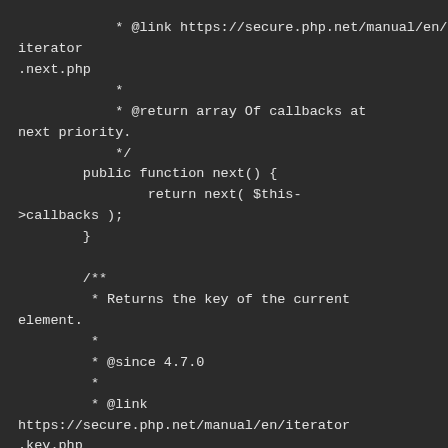* @link https://secure.php.net/manual/en/iterator.next.php
         *
         * @return array Of callbacks at next priority.
         */
        public function next() {
                return next( $this->callbacks );
        }

        /**
         * Returns the key of the current element.
         *
         * @since 4.7.0
         *
         * @link https://secure.php.net/manual/en/iterator.key.php